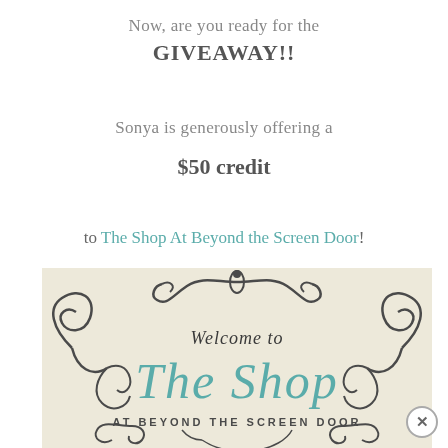Now, are you ready for the
GIVEAWAY!!
Sonya is generously offering a
$50 credit
to The Shop At Beyond the Screen Door!
[Figure (illustration): Store sign graphic reading 'Welcome to The Shop AT BEYOND THE SCREEN DOOR' with decorative scrollwork border on a cream/beige background]